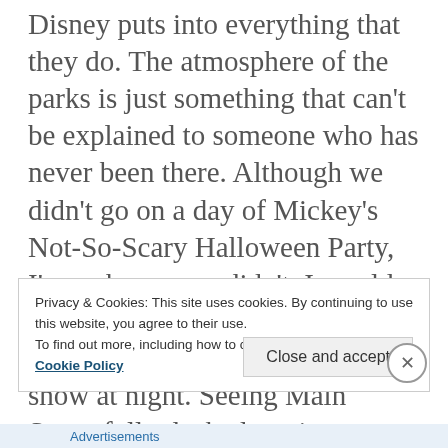Disney puts into everything that they do. The atmosphere of the parks is just something that can't be explained to someone who has never been there. Although we didn't go on a day of Mickey's Not-So-Scary Halloween Party, I'm so happy we didn't. I would have missed some of the iconic parades and the classic fireworks show at night. Seeing Main Street fully decked out in Autumn-y decorations was enough for me and it was absolutely amazing.
Privacy & Cookies: This site uses cookies. By continuing to use this website, you agree to their use.
To find out more, including how to control cookies, see here:
Cookie Policy
Close and accept
Advertisements